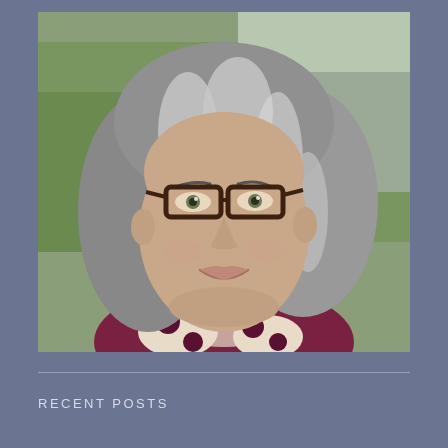[Figure (photo): Portrait photo of a middle-aged woman with shoulder-length gray streaked hair, wearing dark-framed glasses and a burgundy and cream patterned sweater, smiling at the camera outdoors with green grass and bare trees in the background.]
RECENT POSTS